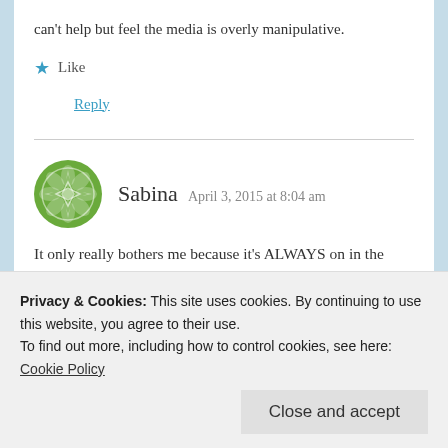can't help but feel the media is overly manipulative.
Like
Reply
Sabina  April 3, 2015 at 8:04 am
It only really bothers me because it's ALWAYS on in the dining hall, but frankly if it weren't I'd be living in a bubble where I don't know anything that's going on, which isn't necessarily better.
Privacy & Cookies: This site uses cookies. By continuing to use this website, you agree to their use.
To find out more, including how to control cookies, see here: Cookie Policy
Close and accept